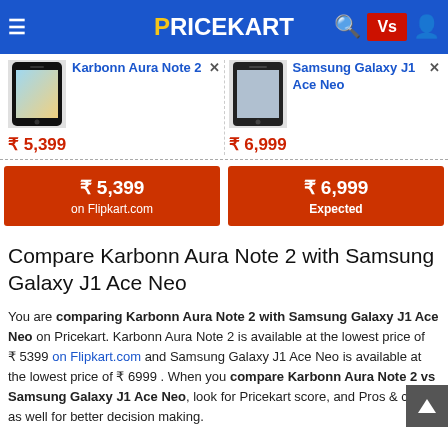PRICEKART
Karbonn Aura Note 2 | ₹5,399
Samsung Galaxy J1 Ace Neo | ₹6,999
₹5,399 on Flipkart.com
₹6,999 Expected
Compare Karbonn Aura Note 2 with Samsung Galaxy J1 Ace Neo
You are comparing Karbonn Aura Note 2 with Samsung Galaxy J1 Ace Neo on Pricekart. Karbonn Aura Note 2 is available at the lowest price of ₹ 5399 on Flipkart.com and Samsung Galaxy J1 Ace Neo is available at the lowest price of ₹ 6999 . When you compare Karbonn Aura Note 2 vs Samsung Galaxy J1 Ace Neo, look for Pricekart score, and Pros & cons as well for better decision making.